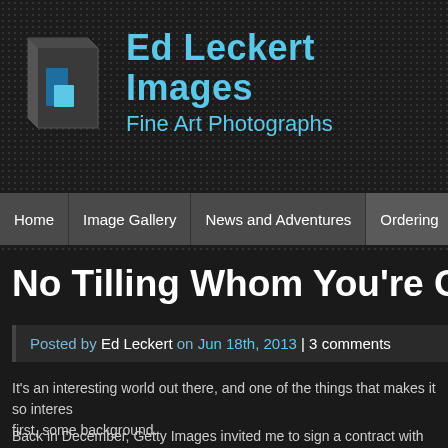[Figure (logo): Ed Leckert Images logo with stylized dark book/camera icon and cyan text reading 'Ed Leckert Images / Fine Art Photographs' on dark dotted background]
Home | Image Gallery | News and Adventures | Ordering
No Tilling Whom You're Going t
Posted by Ed Leckert on Jun 18th, 2013 | 3 comments
It's an interesting world out there, and one of the things that makes it so interes first, some background.
Back in December, Getty Images invited me to sign a contract with them and up Flickr Photostream for display on the gettyimages.com website. One of the ima needed a property release from the owner to avoid legal trouble. It seems my i Release was easily identifiable, and Getty didn't want to upset the owner...